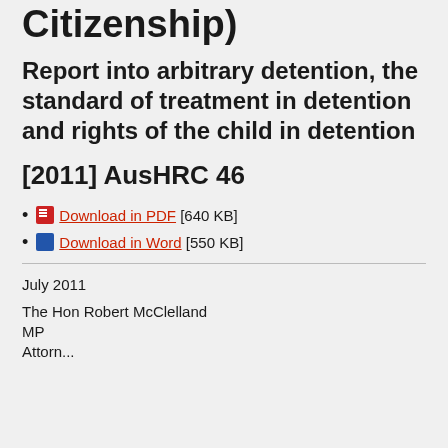Citizenship)
Report into arbitrary detention, the standard of treatment in detention and rights of the child in detention
[2011] AusHRC 46
Download in PDF [640 KB]
Download in Word [550 KB]
July 2011
The Hon Robert McClelland
MP
Attorney General